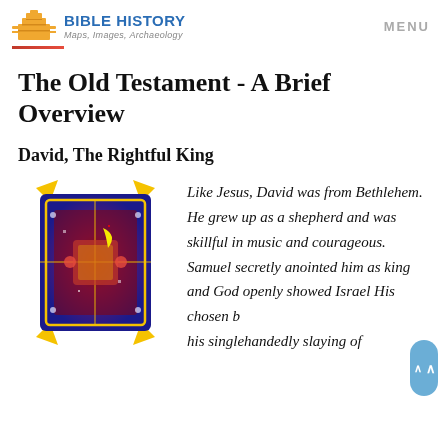BIBLE HISTORY Maps, Images, Archaeology | MENU
The Old Testament - A Brief Overview
David, The Rightful King
[Figure (illustration): A colorful illuminated manuscript illustration featuring ornate decorative patterns in red, blue, yellow, and purple on a square cushion-like shape with corner flourishes.]
Like Jesus, David was from Bethlehem. He grew up as a shepherd and was skillful in music and courageous. Samuel secretly anointed him as king and God openly showed Israel His chosen by his singlehandedly slaying of